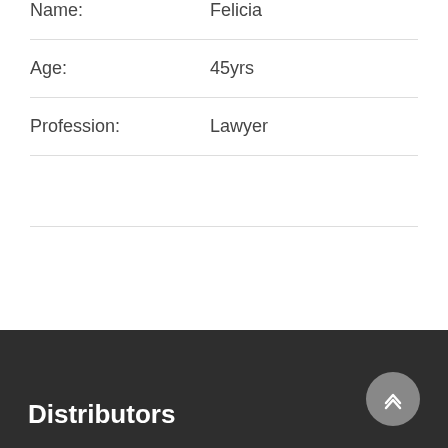| Field | Value |
| --- | --- |
| Name: | Felicia |
| Age: | 45yrs |
| Profession: | Lawyer |
|  |  |
Distributors